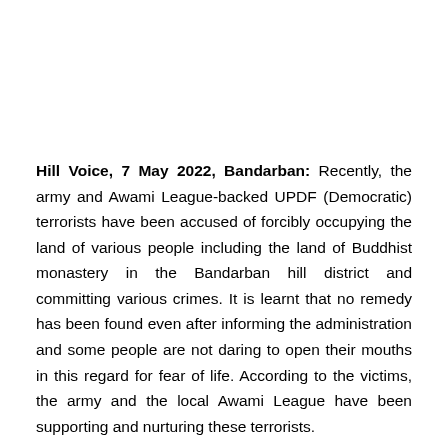Hill Voice, 7 May 2022, Bandarban: Recently, the army and Awami League-backed UPDF (Democratic) terrorists have been accused of forcibly occupying the land of various people including the land of Buddhist monastery in the Bandarban hill district and committing various crimes. It is learnt that no remedy has been found even after informing the administration and some people are not daring to open their mouths in this regard for fear of life. According to the victims, the army and the local Awami League have been supporting and nurturing these terrorists.
Recently, the army and Awami League-backed...